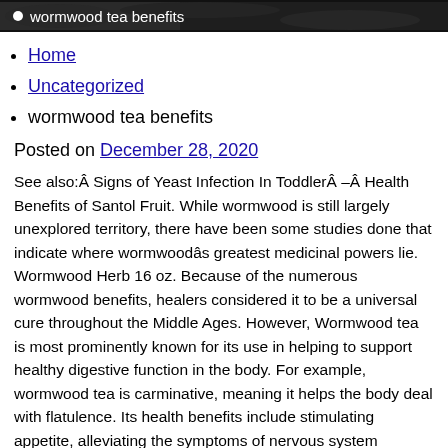[Figure (photo): Dark background image with white bullet point and text 'wormwood tea benefits']
Home
Uncategorized
wormwood tea benefits
Posted on December 28, 2020
See also:Â Signs of Yeast Infection In ToddlerÂ –Â Health Benefits of Santol Fruit. While wormwood is still largely unexplored territory, there have been some studies done that indicate where wormwoodâs greatest medicinal powers lie. Wormwood Herb 16 oz. Because of the numerous wormwood benefits, healers considered it to be a universal cure throughout the Middle Ages. However, Wormwood tea is most prominently known for its use in helping to support healthy digestive function in the body. For example, wormwood tea is carminative, meaning it helps the body deal with flatulence. Its health benefits include stimulating appetite, alleviating the symptoms of nervous system disorders, treating malaria, acting as an insect repellant, eliminating an overgrowth of small intestinal bacteria, and treating anorexia. Consuming wormwood tea or wormwood root decoction can reduce the onset of epilepsy, and increase the productivity of epilepsy patients. It’s also the primary active ingredient in wormwood (4). Fresh wormwood leaves are pounded until pulverized, wring and strain it until half cup of extract is collected